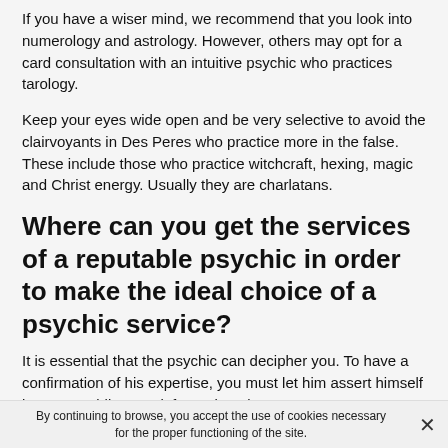If you have a wiser mind, we recommend that you look into numerology and astrology. However, others may opt for a card consultation with an intuitive psychic who practices tarology.
Keep your eyes wide open and be very selective to avoid the clairvoyants in Des Peres who practice more in the false. These include those who practice witchcraft, hexing, magic and Christ energy. Usually they are charlatans.
Where can you get the services of a reputable psychic in order to make the ideal choice of a psychic service?
It is essential that the psychic can decipher you. To have a confirmation of his expertise, you must let him assert himself by not providing any information about...
By continuing to browse, you accept the use of cookies necessary for the proper functioning of the site.